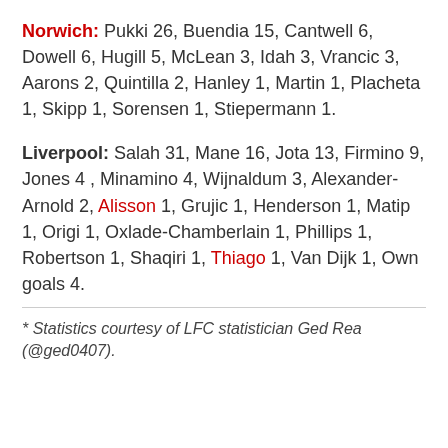Norwich: Pukki 26, Buendia 15, Cantwell 6, Dowell 6, Hugill 5, McLean 3, Idah 3, Vrancic 3, Aarons 2, Quintilla 2, Hanley 1, Martin 1, Placheta 1, Skipp 1, Sorensen 1, Stiepermann 1.
Liverpool: Salah 31, Mane 16, Jota 13, Firmino 9, Jones 4 , Minamino 4, Wijnaldum 3, Alexander-Arnold 2, Alisson 1, Grujic 1, Henderson 1, Matip 1, Origi 1, Oxlade-Chamberlain 1, Phillips 1, Robertson 1, Shaqiri 1, Thiago 1, Van Dijk 1, Own goals 4.
* Statistics courtesy of LFC statistician Ged Rea (@ged0407).